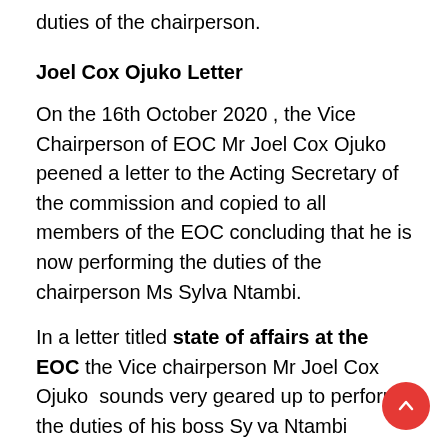duties of the chairperson.
Joel Cox Ojuko Letter
On the 16th October 2020 , the Vice Chairperson of EOC Mr Joel Cox Ojuko peened a letter to the Acting Secretary of the commission and copied to all members of the EOC concluding that he is now performing the duties of the chairperson Ms Sylva Ntambi.
In a letter titled state of affairs at the EOC the Vice chairperson Mr Joel Cox Ojuko sounds very geared up to perform the duties of his boss Sylva Ntambi without any delay.